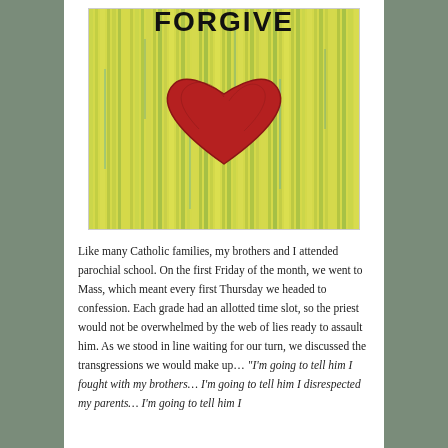[Figure (illustration): A painting with yellow-green textured background featuring a large red heart in the center and partial text at the top reading 'FORGIVE' in black brush lettering]
Like many Catholic families, my brothers and I attended parochial school. On the first Friday of the month, we went to Mass, which meant every first Thursday we headed to confession. Each grade had an allotted time slot, so the priest would not be overwhelmed by the web of lies ready to assault him. As we stood in line waiting for our turn, we discussed the transgressions we would make up… "I'm going to tell him I fought with my brothers… I'm going to tell him I disrespected my parents… I'm going to tell him I